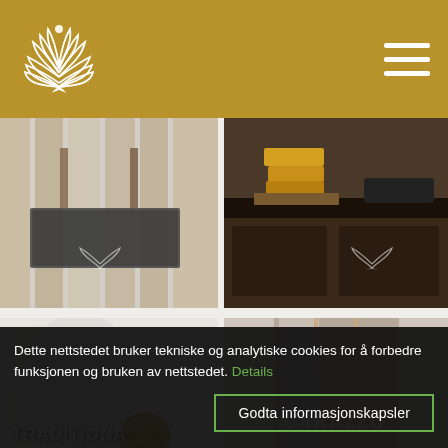Website header with logo emblem and hamburger menu
[Figure (photo): Interior photo showing a floor with a dark rug and furniture legs on wooden flooring, with white logo emblem watermark]
[Figure (photo): Interior photo showing a dark kitchen counter with sink, yellow towels stacked, with white logo emblem watermark]
[Figure (photo): Close-up of ornate white painted plaster molding with a brass door handle, labeled TRADITIONAL PAINT LACQUER]
[Figure (photo): Bedroom interior with canopy bed, white drapes, and striped pillows, labeled CARAZZO]
Dette nettstedet bruker tekniske og analytiske cookies for å forbedre funksjonen og bruken av nettstedet. Details
Godta informasjonskapsler